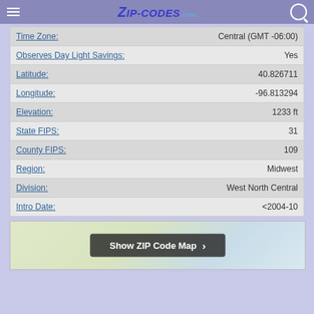Zip-Codes.com
| Field | Value |
| --- | --- |
| Time Zone: | Central (GMT -06:00) |
| Observes Day Light Savings: | Yes |
| Latitude: | 40.826711 |
| Longitude: | -96.813294 |
| Elevation: | 1233 ft |
| State FIPS: | 31 |
| County FIPS: | 109 |
| Region: | Midwest |
| Division: | West North Central |
| Intro Date: | <2004-10 |
[Figure (map): ZIP code map area with Show ZIP Code Map button overlay]